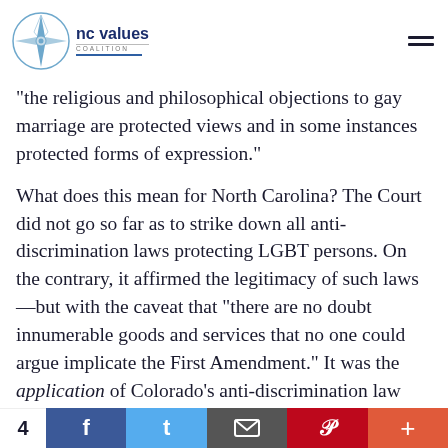NC Values Coalition logo and navigation menu
"the religious and philosophical objections to gay marriage are protected views and in some instances protected forms of expression."
What does this mean for North Carolina? The Court did not go so far as to strike down all anti-discrimination laws protecting LGBT persons. On the contrary, it affirmed the legitimacy of such laws—but with the caveat that "there are no doubt innumerable goods and services that no one could argue implicate the First Amendment." It was the application of Colorado's anti-discrimination law that troubled the
4  f  t  [email]  p  +